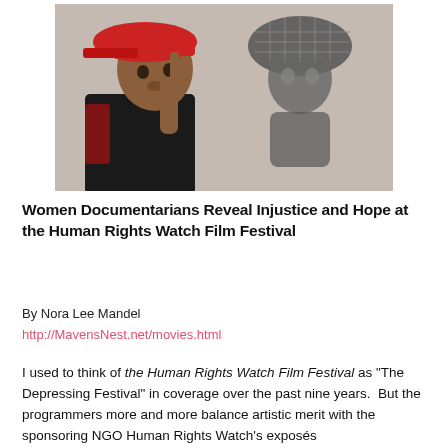[Figure (photo): A young woman wearing a red cap holds her finger to her lips in a shushing gesture, standing in front of a wall with a graffiti mural depicting a figure in a hat.]
Women Documentarians Reveal Injustice and Hope at the Human Rights Watch Film Festival
By Nora Lee Mandel
http://MavensNest.net/movies.html
I used to think of the Human Rights Watch Film Festival as "The Depressing Festival" in coverage over the past nine years.  But the programmers more and more balance artistic merit with the sponsoring NGO Human Rights Watch's exposés